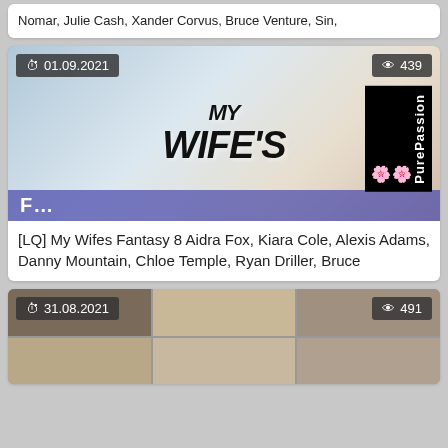Nomar, Julie Cash, Xander Corvus, Bruce Venture, Sin,
[Figure (photo): Thumbnail image for 'My Wifes Fantasy 8' with date badge 01.09.2021 and view count 439, PurePassion brand label on right side]
[LQ] My Wifes Fantasy 8 Aidra Fox, Kiara Cole, Alexis Adams, Danny Mountain, Chloe Temple, Ryan Driller, Bruce
[Figure (photo): Thumbnail collage image with date badge 31.08.2021 and view count 491, showing multiple photo panels]
31.08.2021
491